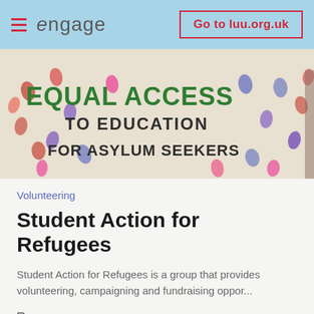engage  |  Go to luu.org.uk
[Figure (photo): A white banner with colourful handprints reading 'EQUAL ACCESS TO EDUCATION FOR ASYLUM SEEKERS']
Volunteering
Student Action for Refugees
Student Action for Refugees is a group that provides volunteering, campaigning and fundraising oppor...
Volunteering